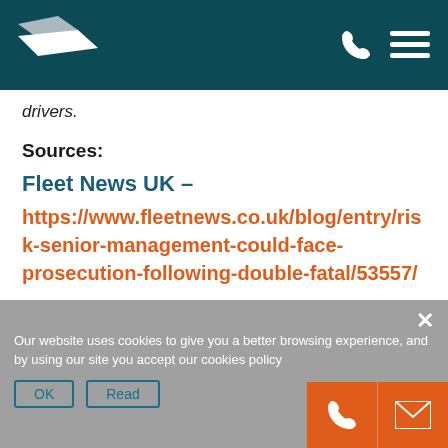Navigation bar with logo, phone and menu icons
drivers.
Sources:
Fleet News UK – https://www.fleetnews.co.uk/blog/entry/risk-senior-management-could-face-prosecution-following-double-fatal/53557/
« Prev
Next »
Our website uses cookies to give you a better browsing experience, and by using our site you accept our cookies policy